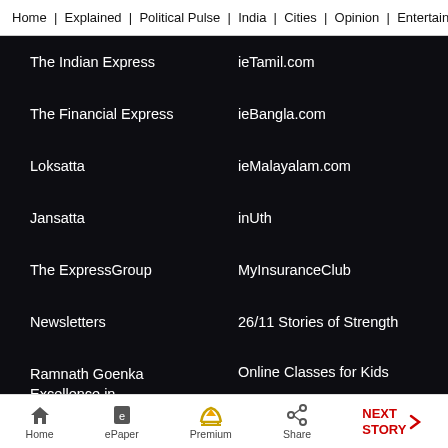Home | Explained | Political Pulse | India | Cities | Opinion | Entertainment
The Indian Express
ieTamil.com
The Financial Express
ieBangla.com
Loksatta
ieMalayalam.com
Jansatta
inUth
The ExpressGroup
MyInsuranceClub
Newsletters
26/11 Stories of Strength
Ramnath Goenka Excellence in Journalism Awards
Online Classes for Kids
Home | ePaper | Premium | Share | NEXT STORY